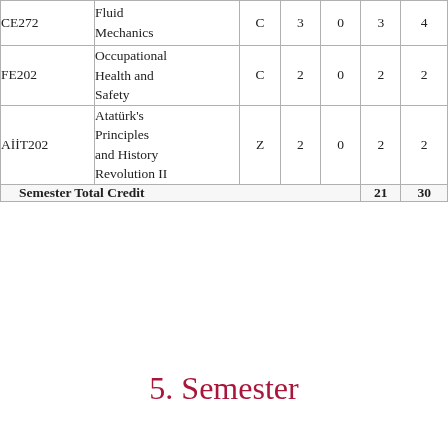| Code | Name | Type | T | P | C | ECTS |
| --- | --- | --- | --- | --- | --- | --- |
| CE272 | Fluid Mechanics | C | 3 | 0 | 3 | 4 |
| FE202 | Occupational Health and Safety | C | 2 | 0 | 2 | 2 |
| AİİT202 | Atatürk's Principles and History Revolution II | Z | 2 | 0 | 2 | 2 |
| Semester Total Credit |  |  |  |  | 21 | 30 |
5. Semester